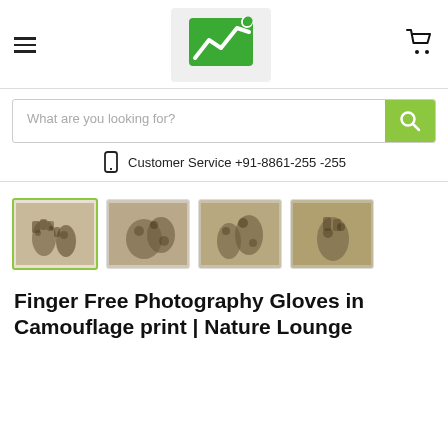[Figure (logo): Green arrow/chart logo with green dot, on light gray background]
What are you looking for?
Customer Service +91-8861-255 -255
[Figure (photo): Four thumbnail images of camouflage finger-free photography gloves, first one selected with green border]
Finger Free Photography Gloves in Camouflage print | Nature Lounge